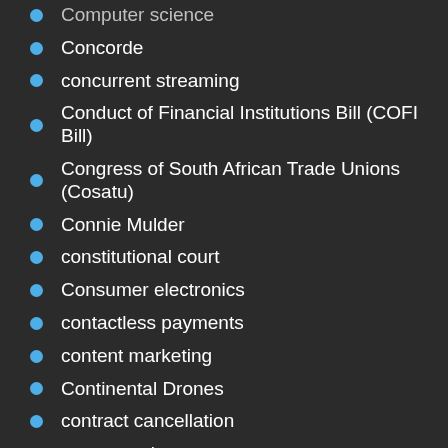Computer science
Concorde
concurrent streaming
Conduct of Financial Institutions Bill (COFI Bill)
Congress of South African Trade Unions (Cosatu)
Connie Mulder
constitutional court
Consumer electronics
contactless payments
content marketing
Continental Drones
contract cancellation
contract prices
Contract upgrade